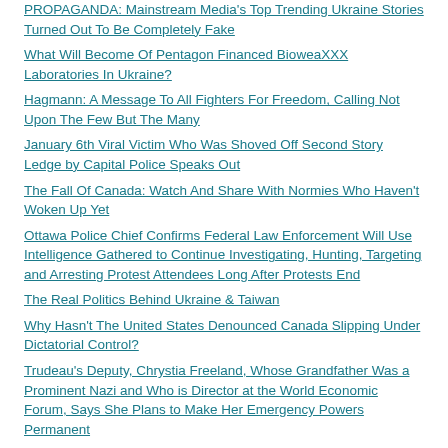PROPAGANDA: Mainstream Media's Top Trending Ukraine Stories Turned Out To Be Completely Fake
What Will Become Of Pentagon Financed BioweaXXX Laboratories In Ukraine?
Hagmann: A Message To All Fighters For Freedom, Calling Not Upon The Few But The Many
January 6th Viral Victim Who Was Shoved Off Second Story Ledge by Capital Police Speaks Out
The Fall Of Canada: Watch And Share With Normies Who Haven't Woken Up Yet
Ottawa Police Chief Confirms Federal Law Enforcement Will Use Intelligence Gathered to Continue Investigating, Hunting, Targeting and Arresting Protest Attendees Long After Protests End
The Real Politics Behind Ukraine & Taiwan
Why Hasn't The United States Denounced Canada Slipping Under Dictatorial Control?
Trudeau's Deputy, Chrystia Freeland, Whose Grandfather Was a Prominent Nazi and Who is Director at the World Economic Forum, Says She Plans to Make Her Emergency Powers Permanent